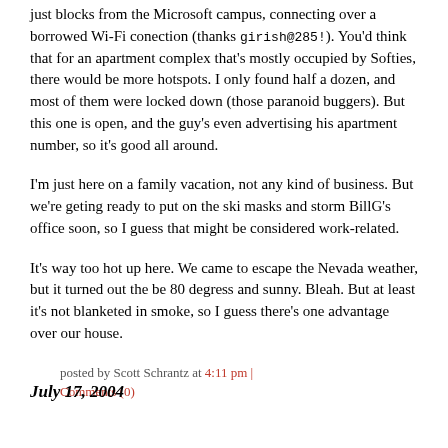just blocks from the Microsoft campus, connecting over a borrowed Wi-Fi conection (thanks girish@285!). You'd think that for an apartment complex that's mostly occupied by Softies, there would be more hotspots. I only found half a dozen, and most of them were locked down (those paranoid buggers). But this one is open, and the guy's even advertising his apartment number, so it's good all around.
I'm just here on a family vacation, not any kind of business. But we're geting ready to put on the ski masks and storm BillG's office soon, so I guess that might be considered work-related.
It's way too hot up here. We came to escape the Nevada weather, but it turned out the be 80 degress and sunny. Bleah. But at least it's not blanketed in smoke, so I guess there's one advantage over our house.
posted by Scott Schrantz at 4:11 pm | Comments (0)
July 17, 2004